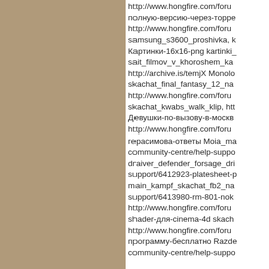[Figure (other): Tan/brown colored left panel background]
http://www.hongfire.com/foru полную-версию-через-торре http://www.hongfire.com/foru samsung_s3600_proshivka, k Картинки-16x16-png kartinki_ sait_filmov_v_khoroshem_ka http://archive.is/temjX Monolo skachat_final_fantasy_12_na http://www.hongfire.com/foru skachat_kwabs_walk_klip, htt Девушки-по-вызову-в-москв http://www.hongfire.com/foru герасимова-ответы Moia_ma community-centre/help-suppo draiver_defender_forsage_dri support/6412923-platesheet-p main_kampf_skachat_fb2_na support/6413980-rm-801-nok http://www.hongfire.com/foru shader-для-cinema-4d skach http://www.hongfire.com/foru программу-бесплатно Razde community-centre/help-suppo